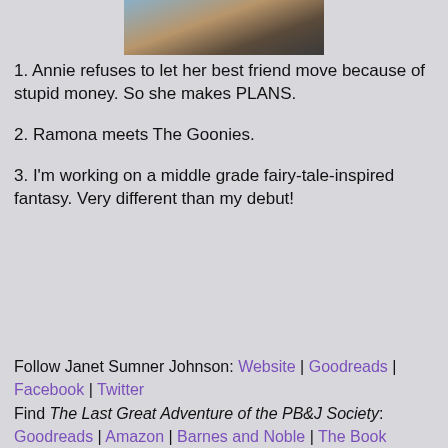[Figure (photo): Partial photo of two people at the top of the page]
1. Annie refuses to let her best friend move because of stupid money. So she makes PLANS.
2. Ramona meets The Goonies.
3. I'm working on a middle grade fairy-tale-inspired fantasy. Very different than my debut!
Follow Janet Sumner Johnson: Website | Goodreads | Facebook | Twitter
Find The Last Great Adventure of the PB&J Society: Goodreads | Amazon | Barnes and Noble | The Book